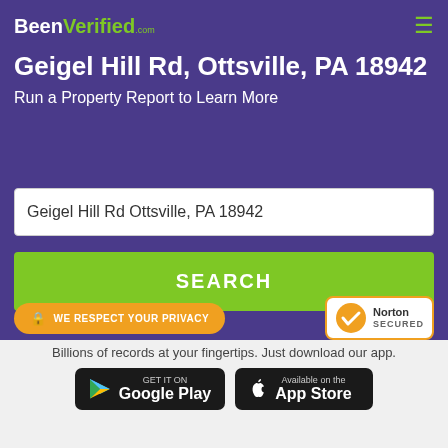[Figure (logo): BeenVerified.com logo in white and green]
Geigel Hill Rd, Ottsville, PA 18942
Run a Property Report to Learn More
Geigel Hill Rd Ottsville, PA 18942
SEARCH
WE RESPECT YOUR PRIVACY
[Figure (logo): Norton Secured badge with checkmark]
Billions of records at your fingertips. Just download our app.
[Figure (logo): Google Play store button]
[Figure (logo): Apple App Store button]